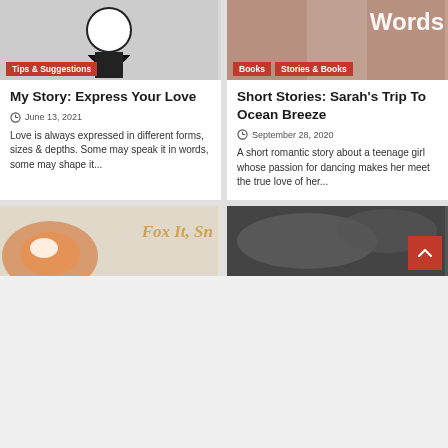[Figure (illustration): Cartoon character image with Tips & Suggestions red tag label]
[Figure (photo): Photo of person with Books and Stories & Books red tag labels, and 'Words' text overlay]
My Story: Express Your Love
June 13, 2021
Love is always expressed in different forms, sizes & depths. Some may speak it in words, some may shape it...
Short Stories: Sarah's Trip To Ocean Breeze
September 28, 2020
A short romantic story about a teenage girl whose passion for dancing makes her meet the true love of her...
[Figure (illustration): Fox illustration with 'Fox It, Sn...' text overlay]
[Figure (photo): Dark stormy sky photo with red back-to-top button]